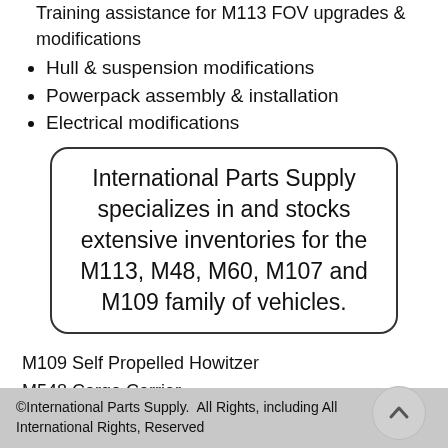Training assistance for M113 FOV upgrades & modifications
Hull & suspension modifications
Powerpack assembly & installation
Electrical modifications
International Parts Supply specializes in and stocks extensive inventories for the M113, M48, M60, M107 and M109 family of vehicles.
M109 Self Propelled Howitzer
M548 Cargo Carrier
M88 Recovery Vehicle
AVB/LVTP-7 Landing Vehicle
©International Parts Supply.  All Rights, including All International Rights, Reserved